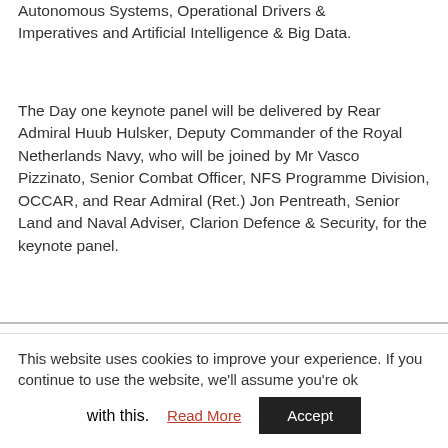Countermeasures, Uncrewed, Remotely Piloted & Autonomous Systems, Operational Drivers & Imperatives and Artificial Intelligence & Big Data.
The Day one keynote panel will be delivered by Rear Admiral Huub Hulsker, Deputy Commander of the Royal Netherlands Navy, who will be joined by Mr Vasco Pizzinato, Senior Combat Officer, NFS Programme Division, OCCAR, and Rear Admiral (Ret.) Jon Pentreath, Senior Land and Naval Adviser, Clarion Defence & Security, for the keynote panel.
Day two's keynote panel discussion will bring together Captain Eric Toebast, NL MCM Service of
This website uses cookies to improve your experience. If you continue to use the website, we'll assume you're ok with this. Read More Accept